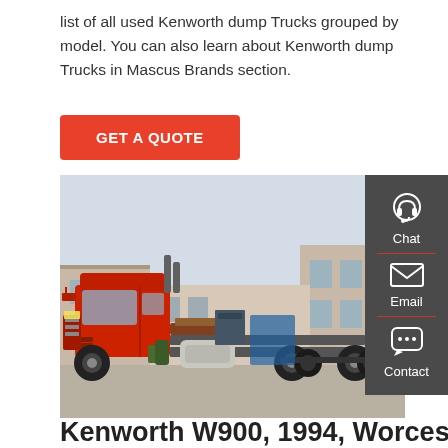list of all used Kenworth dump Trucks grouped by model. You can also learn about Kenworth dump Trucks in Mascus Brands section.
GET A QUOTE
[Figure (photo): Side view of a red heavy-duty truck (appears to be a Chinese brand) parked in an industrial yard with buildings in the background.]
Kenworth W900, 1994, Worcester